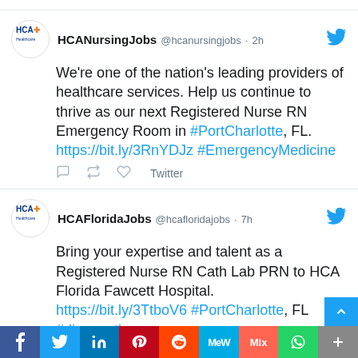HCANursingJobs @hcanursingjobs · 2h — We're one of the nation's leading providers of healthcare services. Help us continue to thrive as our next Registered Nurse RN Emergency Room in #PortCharlotte, FL. https://bit.ly/3RnYDJz #EmergencyMedicine
HCAFloridaJobs @hcafloridajobs · 7h — Bring your expertise and talent as a Registered Nurse RN Cath Lab PRN to HCA Florida Fawcett Hospital. https://bit.ly/3TtboV6 #PortCharlotte, FL #diagnostic
[Figure (infographic): Social sharing bar with icons for Facebook, Twitter, LinkedIn, Pinterest, Reddit, MeWe, Mix, WhatsApp, and More]